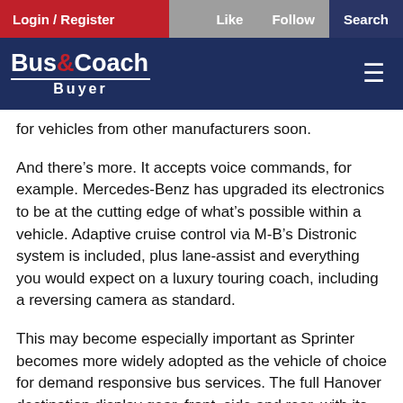Login / Register | Like | Follow | Search
[Figure (logo): Bus&Coach Buyer logo with navigation bar]
for vehicles from other manufacturers soon.
And there's more. It accepts voice commands, for example. Mercedes-Benz has upgraded its electronics to be at the cutting edge of what's possible within a vehicle. Adaptive cruise control via M-B's Distronic system is included, plus lane-assist and everything you would expect on a luxury touring coach, including a reversing camera as standard.
This may become especially important as Sprinter becomes more widely adopted as the vehicle of choice for demand responsive bus services. The full Hanover destination display gear, front, side and rear, with its